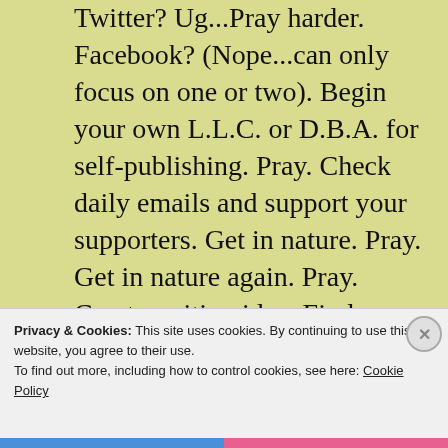Twitter? Ug...Pray harder. Facebook? (Nope...can only focus on one or two). Begin your own L.L.C. or D.B.A. for self-publishing. Pray. Check daily emails and support your supporters. Get in nature. Pray. Get in nature again. Pray. Create writing idea. Find an illustrator. Learn new publishing software. Continue learning after mistakes. Learn marketing software. Flip a coin. I mean, pray.
Privacy & Cookies: This site uses cookies. By continuing to use this website, you agree to their use. To find out more, including how to control cookies, see here: Cookie Policy